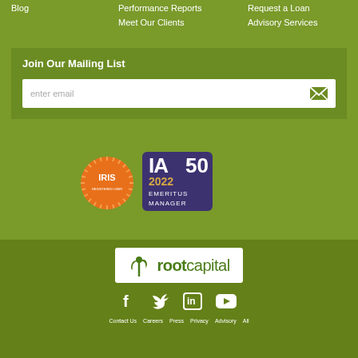Blog
Performance Reports
Request a Loan
Meet Our Clients
Advisory Services
Join Our Mailing List
enter email
[Figure (logo): IRIS Registered User circular orange badge logo]
[Figure (logo): IA 50 2022 Emeritus Manager badge with purple background]
[Figure (logo): Root Capital logo — white background with green plant icon and root capital text]
[Figure (logo): Social media icons: Facebook, Twitter, LinkedIn, YouTube in white]
Contact Us   Careers   Press   Privacy   Advisory   All